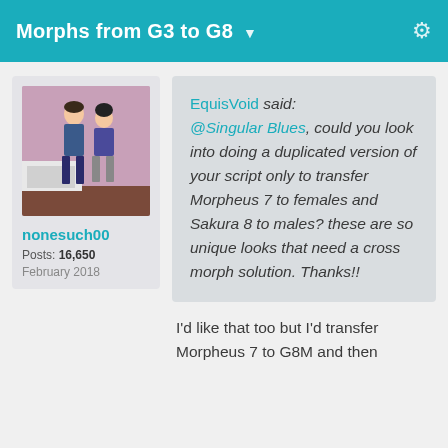Morphs from G3 to G8
[Figure (photo): Forum avatar photo showing two 3D rendered characters in a kitchen scene with pink walls]
nonesuch00
Posts: 16,650
February 2018
EquisVoid said: @Singular Blues, could you look into doing a duplicated version of your script only to transfer Morpheus 7 to females and Sakura 8 to males? these are so unique looks that need a cross morph solution. Thanks!!
I'd like that too but I'd transfer Morpheus 7 to G8M and then